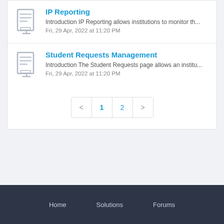IP Reporting
Introduction IP Reporting allows institutions to monitor th...
Fri, 29 Apr, 2022 at 11:20 PM
Student Requests Management
Introduction The Student Requests page allows an institu...
Fri, 29 Apr, 2022 at 11:20 PM
< 1 2 >
Home   Solutions   Forums